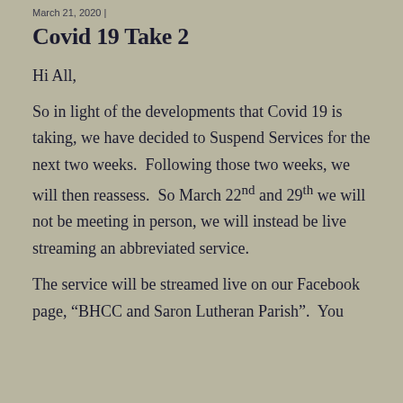March 21, 2020 |
Covid 19 Take 2
Hi All,
So in light of the developments that Covid 19 is taking, we have decided to Suspend Services for the next two weeks.  Following those two weeks, we will then reassess.  So March 22nd and 29th we will not be meeting in person, we will instead be live streaming an abbreviated service.
The service will be streamed live on our Facebook page, “BHCC and Saron Lutheran Parish”.  You